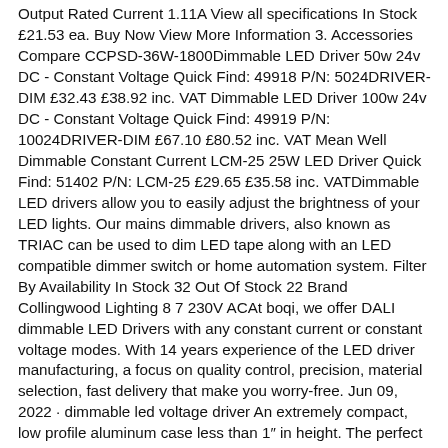Output Rated Current 1.11A View all specifications In Stock £21.53 ea. Buy Now View More Information 3. Accessories Compare CCPSD-36W-1800Dimmable LED Driver 50w 24v DC - Constant Voltage Quick Find: 49918 P/N: 5024DRIVER-DIM £32.43 £38.92 inc. VAT Dimmable LED Driver 100w 24v DC - Constant Voltage Quick Find: 49919 P/N: 10024DRIVER-DIM £67.10 £80.52 inc. VAT Mean Well Dimmable Constant Current LCM-25 25W LED Driver Quick Find: 51402 P/N: LCM-25 £29.65 £35.58 inc. VATDimmable LED drivers allow you to easily adjust the brightness of your LED lights. Our mains dimmable drivers, also known as TRIAC can be used to dim LED tape along with an LED compatible dimmer switch or home automation system. Filter By Availability In Stock 32 Out Of Stock 22 Brand Collingwood Lighting 8 7 230V ACAt boqi, we offer DALI dimmable LED Drivers with any constant current or constant voltage modes. With 14 years experience of the LED driver manufacturing, a focus on quality control, precision, material selection, fast delivery that make you worry-free. Jun 09, 2022 · dimmable led voltage driver An extremely compact, low profile aluminum case less than 1″ in height. The perfect choice for under cabinet lighting, kick/cove lighting and mirror lighting. Our LED drivers range from traditional constant voltage and constant current designs to state-of-the art, Constant Power to Leading Edge intelligent programmable drivers, like 0-10V dimmable drivers, DALI dimmable drivers and DMX dimmable drivers. MOONS' LED drivers are used in numerous applications ranging from roadway